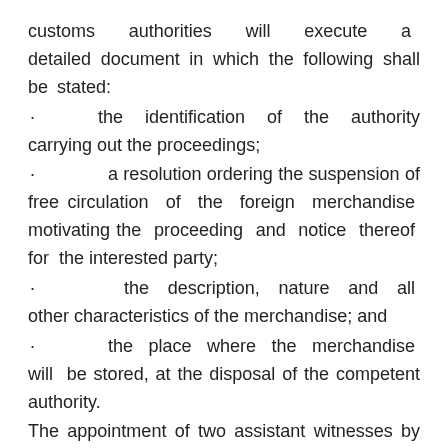customs authorities will execute a detailed document in which the following shall be stated:
· the identification of the authority carrying out the proceedings;
· a resolution ordering the suspension of free circulation of the foreign merchandise motivating the proceeding and notice thereof for the interested party;
· the description, nature and all other characteristics of the merchandise; and
· the place where the merchandise will be stored, at the disposal of the competent authority.
The appointment of two assistant witnesses by the